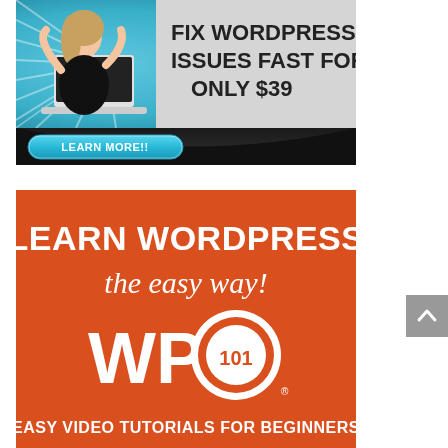[Figure (infographic): WordPress support advertisement banner with blue burst background, woman frustrated at laptop, text: 'FIX WORDPRESS ISSUES FAST FOR ONLY $39' with a teal 'LEARN MORE!!' button]
[Figure (infographic): WP101 advertisement on orange background: 'LEARN WORDPRESS the easy way!' with WP101 logo and 'EASY VIDEO TUTORIALS FOR BEGINNERS']